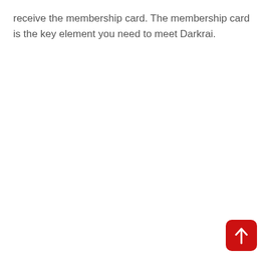receive the membership card. The membership card is the key element you need to meet Darkrai.
[Figure (other): Red rounded-square back-to-top button with a white upward arrow icon]